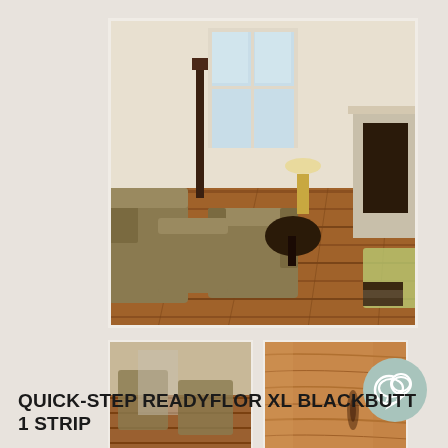[Figure (photo): Large interior room photo showing a living room with olive/khaki upholstered armchairs and sofa, warm brown hardwood flooring (Blackbutt timber), white walls, large windows, tall dark wooden sculpture, table lamp, candles, and a fireplace on the right side.]
[Figure (photo): Small thumbnail of the same living room interior, showing the flooring and seating area.]
[Figure (photo): Small thumbnail close-up of the Blackbutt timber flooring planks, showing the natural wood grain and color.]
QUICK-STEP READYFLOR XL BLACKBUTT 1 STRIP